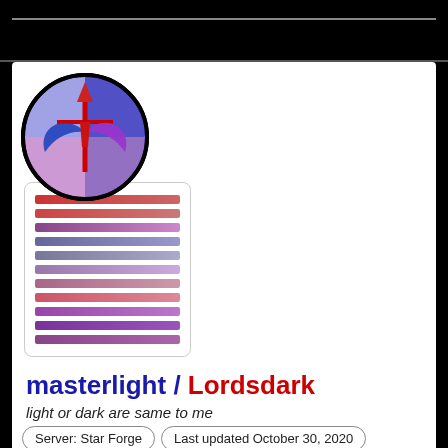[Figure (logo): Star Wars guild logo — circular emblem with Republic/Sith symbols in blue, red, purple on white background, with colored horizontal bars below it]
masterlight / Lordsdark
light or dark are same to me
Server: Star Forge | Last updated October 30, 2020
GMT | flag+ Members, many as can during prime time
Operations
PvP
Ranked PvP
Flashpoints
Conquest
Roleplay
Social/hanging out
Leveling
Crafting
Returns
Hunting
World Boss...